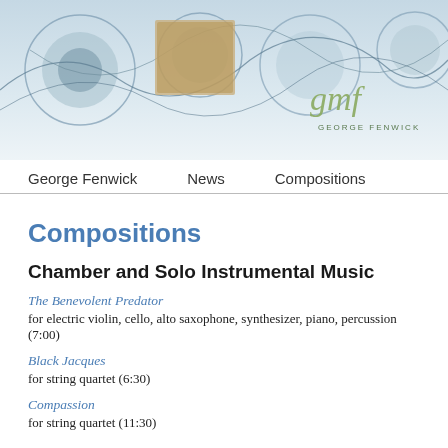[Figure (illustration): Header image with abstract circular shapes and flowing lines on a light blue/grey background, with a 'gmf George Fenwick' logo in the bottom right corner]
George Fenwick   News   Compositions
Compositions
Chamber and Solo Instrumental Music
The Benevolent Predator
for electric violin, cello, alto saxophone, synthesizer, piano, percussion (7:00)
Black Jacques
for string quartet (6:30)
Compassion
for string quartet (11:30)